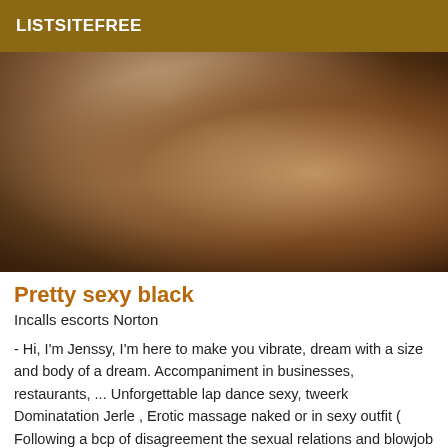LISTSITEFREE
[Figure (photo): Close-up photo with dark brown tones]
Pretty sexy black
Incalls escorts Norton
- Hi, I'm Jenssy, I'm here to make you vibrate, dream with a size and body of a dream. Accompaniment in businesses, restaurants, ... Unforgettable lap dance sexy, tweerk Dominatation Jerle , Erotic massage naked or in sexy outfit ( Following a bcp of disagreement the sexual relations and blowjob are not practiced with me )